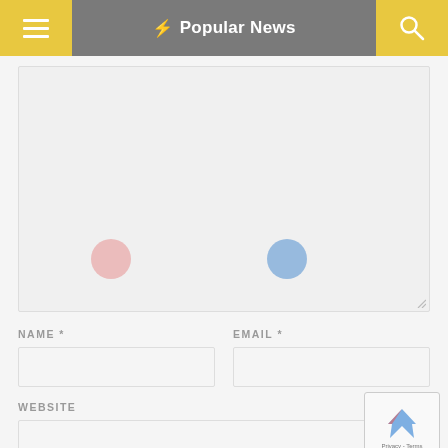Popular News
[Figure (screenshot): Comment textarea with two decorative circles (pink and blue) and a resize handle]
NAME *
EMAIL *
WEBSITE